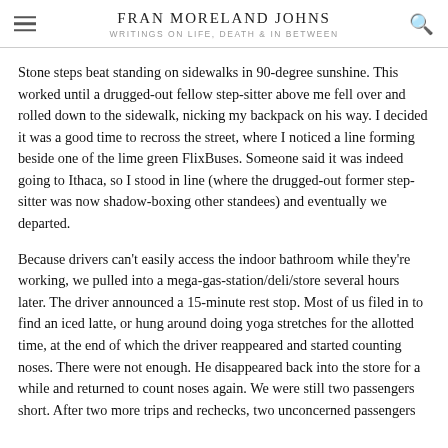FRAN MORELAND JOHNS
WRITINGS ON LIFE, DEATH & IN BETWEEN
Stone steps beat standing on sidewalks in 90-degree sunshine. This worked until a drugged-out fellow step-sitter above me fell over and rolled down to the sidewalk, nicking my backpack on his way. I decided it was a good time to recross the street, where I noticed a line forming beside one of the lime green FlixBuses. Someone said it was indeed going to Ithaca, so I stood in line (where the drugged-out former step-sitter was now shadow-boxing other standees) and eventually we departed.
Because drivers can't easily access the indoor bathroom while they're working, we pulled into a mega-gas-station/deli/store several hours later. The driver announced a 15-minute rest stop. Most of us filed in to find an iced latte, or hung around doing yoga stretches for the allotted time, at the end of which the driver reappeared and started counting noses. There were not enough. He disappeared back into the store for a while and returned to count noses again. We were still two passengers short. After two more trips and rechecks, two unconcerned passengers